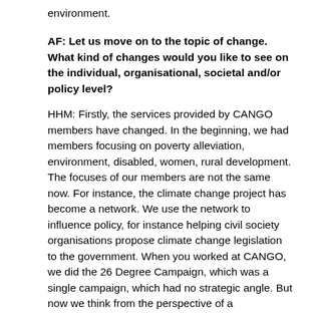environment.
AF: Let us move on to the topic of change. What kind of changes would you like to see on the individual, organisational, societal and/or policy level?
HHM: Firstly, the services provided by CANGO members have changed. In the beginning, we had members focusing on poverty alleviation, environment, disabled, women, rural development. The focuses of our members are not the same now. For instance, the climate change project has become a network. We use the network to influence policy, for instance helping civil society organisations propose climate change legislation to the government. When you worked at CANGO, we did the 26 Degree Campaign, which was a single campaign, which had no strategic angle. But now we think from the perspective of a